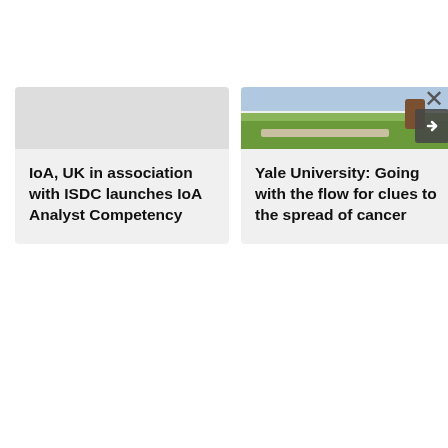[Figure (screenshot): Two news/article cards side by side. Left card has a light gray image placeholder at top and text 'IoA, UK in association with ISDC launches IoA Analyst Competency'. Right card has a photo of people walking on a campus path with a green lawn, an arrow button overlay, and text 'Yale University: Going with the flow for clues to the spread of cancer'. A close (×) button appears at top right.]
IoA, UK in association with ISDC launches IoA Analyst Competency
Yale University: Going with the flow for clues to the spread of cancer